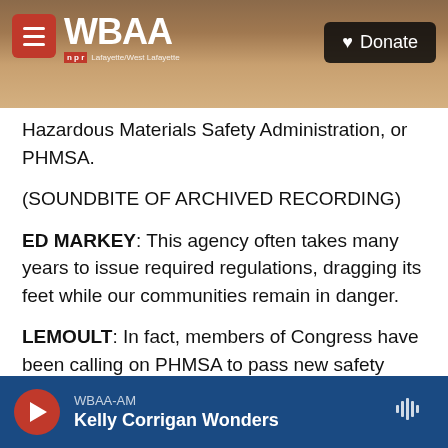[Figure (screenshot): WBAA NPR radio station website header with menu button, WBAA logo, tree/nature background photo, and Donate button]
Hazardous Materials Safety Administration, or PHMSA.
(SOUNDBITE OF ARCHIVED RECORDING)
ED MARKEY: This agency often takes many years to issue required regulations, dragging its feet while our communities remain in danger.
LEMOULT: In fact, members of Congress have been calling on PHMSA to pass new safety regulations ever since another catastrophe in 2010.
(SOUNDBITE OF MEDIA MONTAGE)
WBAA-AM | Kelly Corrigan Wonders